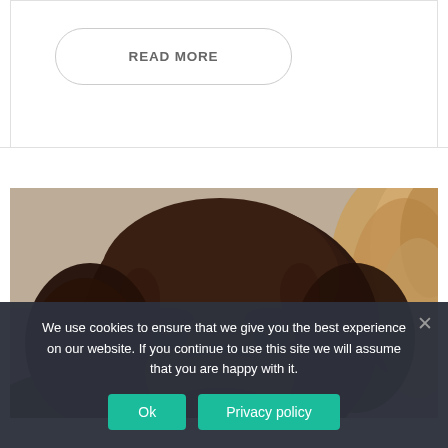READ MORE
[Figure (photo): Close-up photo of a chocolate Labrador puppy with dark brown fur, looking forward with soulful eyes, resting near golden-furred dog]
We use cookies to ensure that we give you the best experience on our website. If you continue to use this site we will assume that you are happy with it.
Ok
Privacy policy